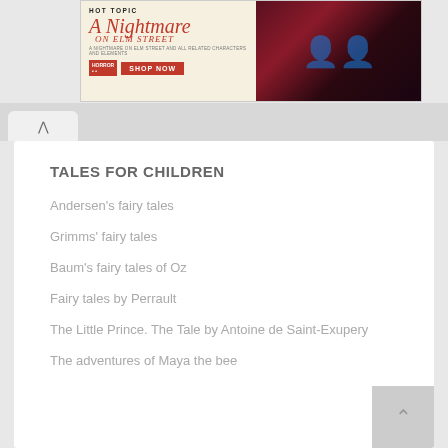[Figure (screenshot): Hot Topic advertisement banner for A Nightmare on Elm Street merchandise, featuring the movie logo in red italic text, a SHOP NOW button, and two people in dark clothing on the right side with a red curtain background.]
TALES FOR CHILDREN
Andersen's fairy tales
Grimms' fairy tales
Baum's fairy tales of Oz
Fairy tales by Perrault
The Little Prince. The Tale by Antoine de Saint-Exupery
The adventures of Maya the bee